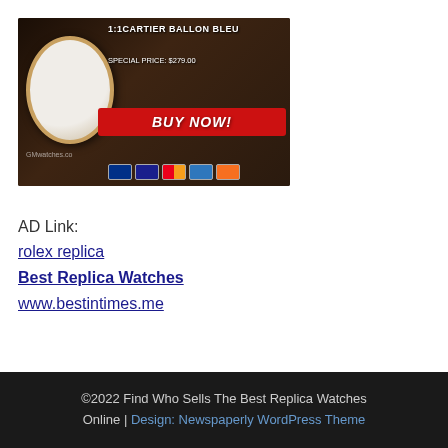[Figure (photo): Advertisement banner for 1:1 Cartier Ballon Bleu replica watch with BUY NOW button and payment icons]
AD Link:
rolex replica
Best Replica Watches
www.bestintimes.me
©2022 Find Who Sells The Best Replica Watches Online | Design: Newspaperly WordPress Theme